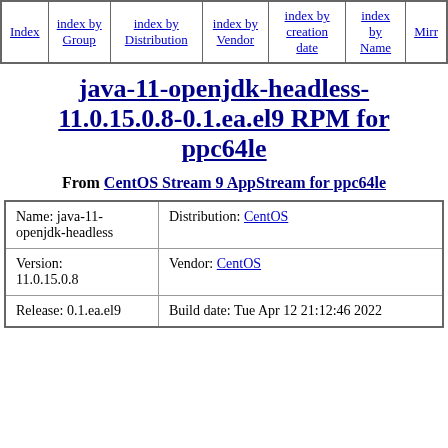| Index | index by Group | index by Distribution | index by Vendor | index by creation date | index by Name | Mirr... |
| --- | --- | --- | --- | --- | --- | --- |
java-11-openjdk-headless-11.0.15.0.8-0.1.ea.el9 RPM for ppc64le
From CentOS Stream 9 AppStream for ppc64le
| Name | Distribution |
| --- | --- |
| Name: java-11-openjdk-headless | Distribution: CentOS |
| Version: 11.0.15.0.8 | Vendor: CentOS |
| Release: 0.1.ea.el9 | Build date: Tue Apr 12 21:12:46 2022 |